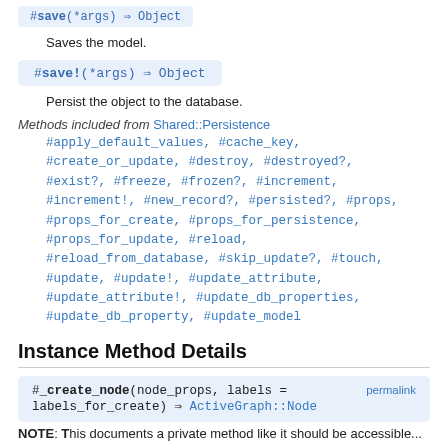#save(*args) ⇒ Object  [stub at top]
Saves the model.
#save!(*args) ⇒ Object
Persist the object to the database.
Methods included from Shared::Persistence
#apply_default_values, #cache_key, #create_or_update, #destroy, #destroyed?, #exist?, #freeze, #frozen?, #increment, #increment!, #new_record?, #persisted?, #props, #props_for_create, #props_for_persistence, #props_for_update, #reload, #reload_from_database, #skip_update?, #touch, #update, #update!, #update_attribute, #update_attribute!, #update_db_properties, #update_db_property, #update_model
Instance Method Details
#_create_node(node_props, labels = labels_for_create) ⇒ ActiveGraph::Node  permalink
NOTE: This documents a private method like it should be accessible...